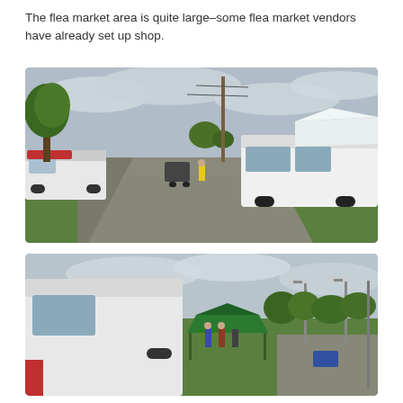The flea market area is quite large–some flea market vendors have already set up shop.
[Figure (photo): Outdoor flea market scene viewed from a road. Vans and trucks parked on both sides of a paved road. A white commercial van on the left, a large white transit van on the right, green grass, trees in background, overcast sky.]
[Figure (photo): Another angle of the flea market area. A white van in the foreground on the left, a green canopy tent in the middle background with people around it, street lights, green grassy field, trees, overcast sky.]